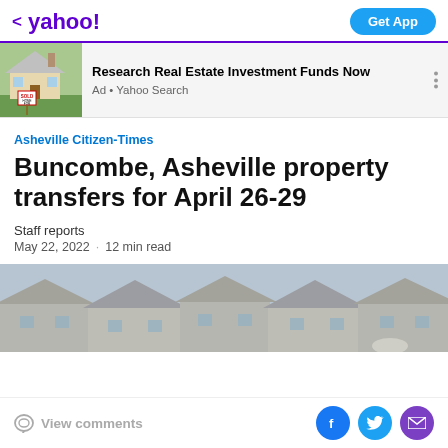< yahoo! | Get App
[Figure (photo): Ad banner with house photo showing SOLD/HOME FOR SALE sign. Text: Research Real Estate Investment Funds Now. Ad • Yahoo Search]
Asheville Citizen-Times
Buncombe, Asheville property transfers for April 26-29
Staff reports
May 22, 2022 · 12 min read
[Figure (photo): Hero image showing row of suburban houses with grey roofs against a light blue sky, slightly blurred/defocused.]
View comments | Facebook share | Twitter share | Email share